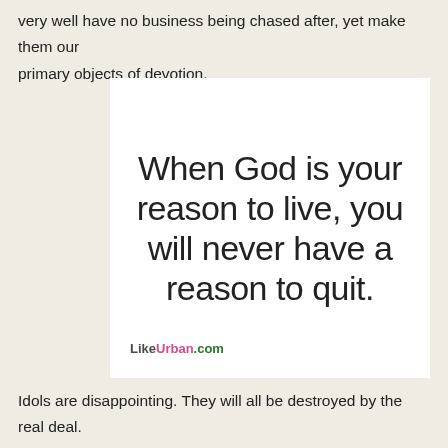very well have no business being chased after, yet make them our primary objects of devotion.
[Figure (other): White quote card with large light-weight sans-serif text reading: 'When God is your reason to live, you will never have a reason to quit.' with LikeUrban.com watermark at bottom left]
Idols are disappointing. They will all be destroyed by the real deal. God's love is unsearchable, but He always finds a way to you. There is nowhere to hide from His love. The dark always will be brought to light.